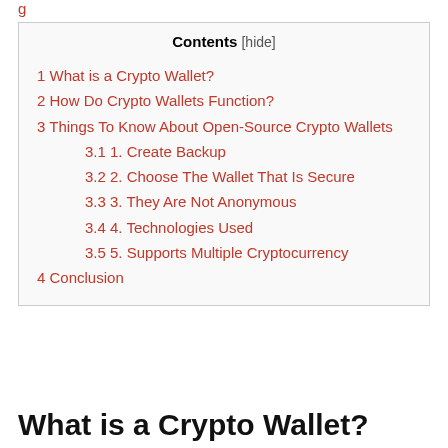| Contents |
| --- |
| 1 What is a Crypto Wallet? |
| 2 How Do Crypto Wallets Function? |
| 3 Things To Know About Open-Source Crypto Wallets |
| 3.1 1. Create Backup |
| 3.2 2. Choose The Wallet That Is Secure |
| 3.3 3. They Are Not Anonymous |
| 3.4 4. Technologies Used |
| 3.5 5. Supports Multiple Cryptocurrency |
| 4 Conclusion |
What is a Crypto Wallet?